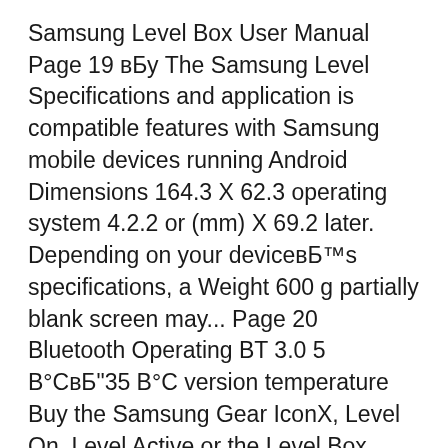Samsung Level Box User Manual Page 19 вБу The Samsung Level Specifications and application is compatible features with Samsung mobile devices running Android Dimensions 164.3 X 62.3 operating system 4.2.2 or (mm) X 69.2 later. Depending on your deviceвБ™s specifications, a Weight 600 g partially blank screen may... Page 20 Bluetooth Operating BT 3.0 5 В°СвБ"35 В°С version temperature Buy the Samsung Gear IconX, Level On, Level Active or the Level Box online at Samsung. Take your music with you wherever life takes you plus free delivery in AU.
Find helpful customer reviews and review ratings for Samsung Level Active Wireless Bluetooth Fitness Earphone Blue Blu...